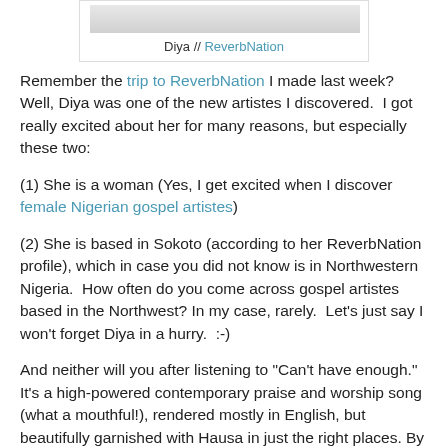Diya // ReverbNation
Remember the trip to ReverbNation I made last week? Well, Diya was one of the new artistes I discovered.  I got really excited about her for many reasons, but especially these two:
(1) She is a woman (Yes, I get excited when I discover female Nigerian gospel artistes)
(2) She is based in Sokoto (according to her ReverbNation profile), which in case you did not know is in Northwestern Nigeria.  How often do you come across gospel artistes based in the Northwest? In my case, rarely.  Let's just say I won't forget Diya in a hurry.  :-)
And neither will you after listening to "Can't have enough." It's a high-powered contemporary praise and worship song (what a mouthful!), rendered mostly in English, but beautifully garnished with Hausa in just the right places. By the way, if you know the translation to that part of the lyrics